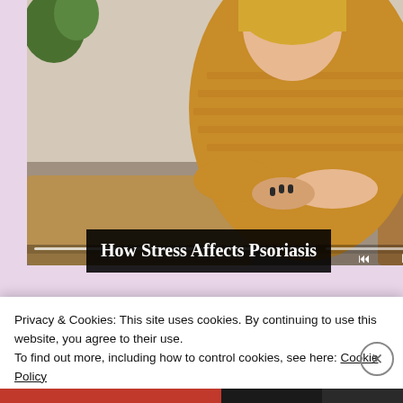[Figure (screenshot): Woman in yellow sweater scratching her arm, shown in a video player interface with playback controls and progress bar segments]
How Stress Affects Psoriasis
[Figure (photo): Close-up of hands holding a small object, thumbnail for article about medications]
Finding the Right Meds for Your PsO Ski...
Privacy & Cookies: This site uses cookies. By continuing to use this website, you agree to their use.
To find out more, including how to control cookies, see here: Cookie Policy
Close and accept